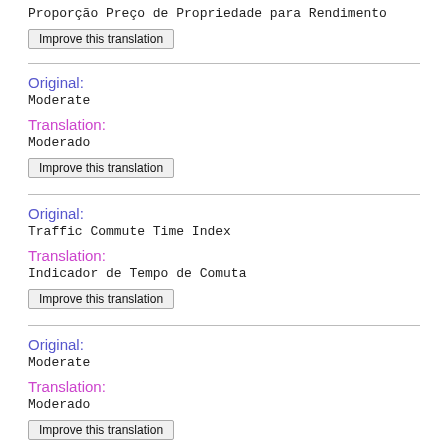Proporção Preço de Propriedade para Rendimento
Improve this translation
Original:
Moderate
Translation:
Moderado
Improve this translation
Original:
Traffic Commute Time Index
Translation:
Indicador de Tempo de Comuta
Improve this translation
Original:
Moderate
Translation:
Moderado
Improve this translation
Original:
Pollution Index